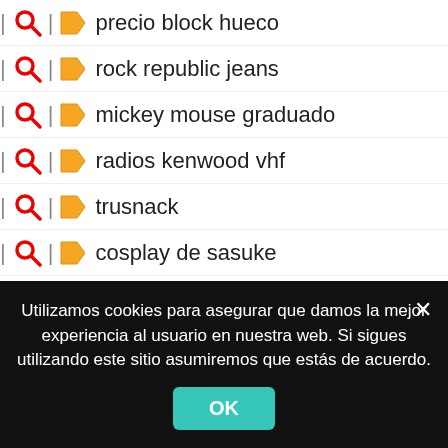precio block hueco
rock republic jeans
mickey mouse graduado
radios kenwood vhf
trusnack
cosplay de sasuke
labiales mate mary kay
nike punta norte
caska mexico
volkswagen bora
kone torreon
wwwfacebook.com.mx iniciar sesion
suzuki mx
Utilizamos cookies para asegurar que damos la mejor experiencia al usuario en nuestra web. Si sigues utilizando este sitio asumiremos que estás de acuerdo.